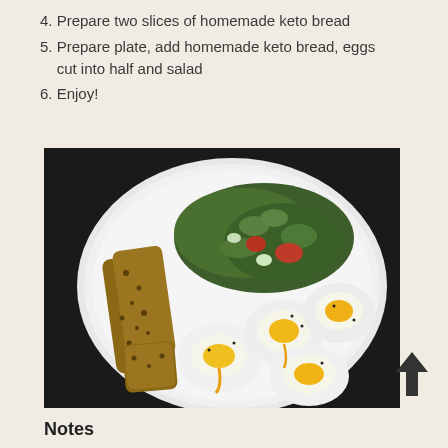4. Prepare two slices of homemade keto bread
5. Prepare plate, add homemade keto bread, eggs cut into half and salad
6. Enjoy!
[Figure (photo): A white plate with two slices of keto bread, halved soft-boiled eggs with runny yolks sprinkled with black pepper, and a green herb salad with tomatoes and cucumber pieces.]
Notes